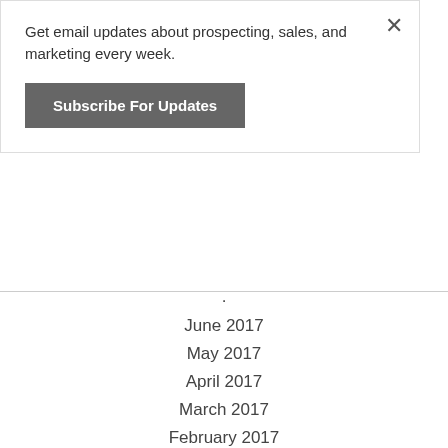Get email updates about prospecting, sales, and marketing every week.
Subscribe For Updates
June 2017
May 2017
April 2017
March 2017
February 2017
January 2017
November 2016
Categories
All
Elder Law
Tips And Tricks
RSS Feed